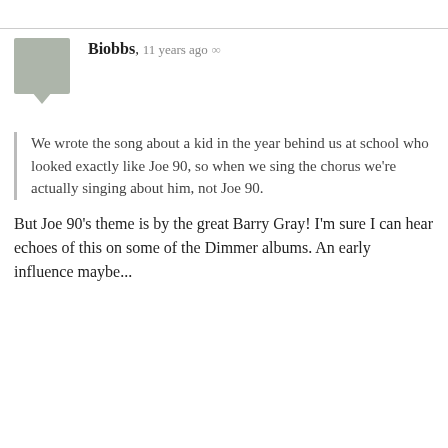Biobbs, 11 years ago ∞
We wrote the song about a kid in the year behind us at school who looked exactly like Joe 90, so when we sing the chorus we're actually singing about him, not Joe 90.
But Joe 90's theme is by the great Barry Gray! I'm sure I can hear echoes of this on some of the Dimmer albums. An early influence maybe...